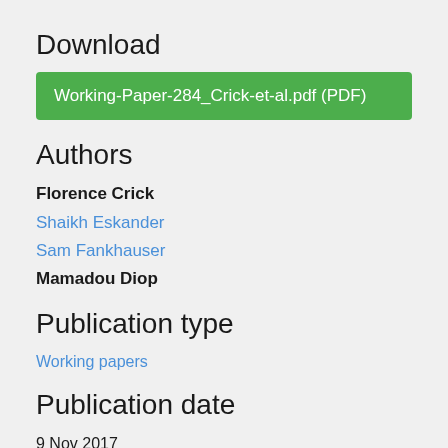Download
Working-Paper-284_Crick-et-al.pdf (PDF)
Authors
Florence Crick
Shaikh Eskander
Sam Fankhauser
Mamadou Diop
Publication type
Working papers
Publication date
9 Nov 2017
Topics